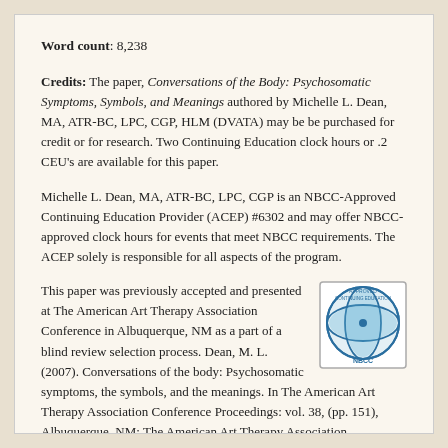Word count: 8,238
Credits: The paper, Conversations of the Body: Psychosomatic Symptoms, Symbols, and Meanings authored by Michelle L. Dean, MA, ATR-BC, LPC, CGP, HLM (DVATA) may be be purchased for credit or for research. Two Continuing Education clock hours or .2 CEU's are available for this paper.
Michelle L. Dean, MA, ATR-BC, LPC, CGP is an NBCC-Approved Continuing Education Provider (ACEP) #6302 and may offer NBCC-approved clock hours for events that meet NBCC requirements. The ACEP solely is responsible for all aspects of the program.
[Figure (logo): NBCC Approved Continuing Education Provider circular logo with blue globe/atom design]
This paper was previously accepted and presented at The American Art Therapy Association Conference in Albuquerque, NM as a part of a blind review selection process. Dean, M. L. (2007). Conversations of the body: Psychosomatic symptoms, the symbols, and the meanings. In The American Art Therapy Association Conference Proceedings: vol. 38, (pp. 151), Albuquerque, NM: The American Art Therapy Association.